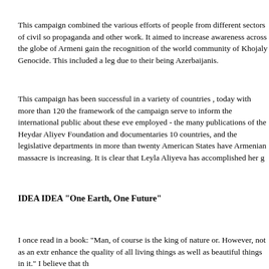This campaign combined the various efforts of people from different sectors of civil so propaganda and other work. It aimed to increase awareness across the globe of Armeni gain the recognition of the world community of Khojaly Genocide. This included a leg due to their being Azerbaijanis.
This campaign has been successful in a variety of countries , today with more than 120 the framework of the campaign serve to inform the international public about these eve employed - the many publications of the Heydar Aliyev Foundation and documentaries 10 countries, and the legislative departments in more than twenty American States have Armenian massacre is increasing. It is clear that Leyla Aliyeva has accomplished her g
IDEA IDEA "One Earth, One Future"
I once read in a book: "Man, of course is the king of nature or. However, not as an extr enhance the quality of all living things as well as beautiful things in it." I believe that th